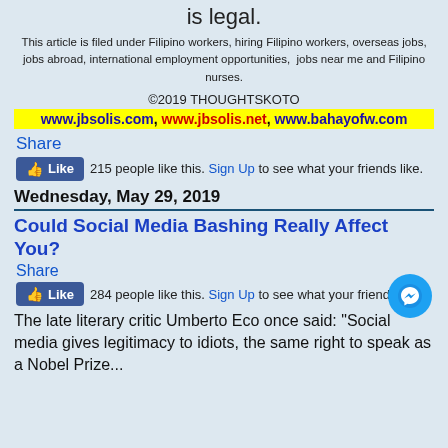is legal.
This article is filed under Filipino workers, hiring Filipino workers, overseas jobs, jobs abroad, international employment opportunities,  jobs near me and Filipino nurses.
©2019 THOUGHTSKOTO
www.jbsolis.com, www.jbsolis.net, www.bahayofw.com
Share
215 people like this. Sign Up to see what your friends like.
Wednesday, May 29, 2019
Could Social Media Bashing Really Affect You?
Share
284 people like this. Sign Up to see what your friends like.
The late literary critic Umberto Eco once said: "Social media gives legitimacy to idiots, the same right to speak as a Nobel Prize..."